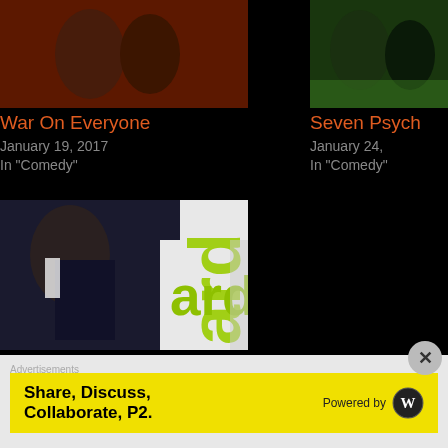[Figure (photo): Movie thumbnail for War On Everyone - people on dark red background]
War On Everyone
January 19, 2017
In "Comedy"
[Figure (photo): Movie thumbnail for Seven Psychopaths - partially visible on right]
Seven Psych
January 24,
In "Comedy"
[Figure (photo): Movie poster for The Guard - man in dark suit with green 'ard' text]
The Guard * * * *
May 14, 2012
In "Comedy"
Advertisements
Share, Discuss, Collaborate, P2.
Powered by